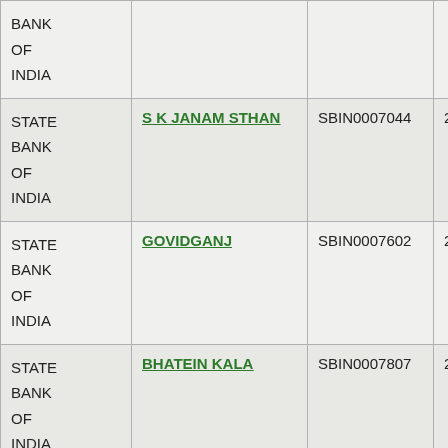| Bank | Branch | IFSC | MICR |
| --- | --- | --- | --- |
| STATE BANK OF INDIA |  |  |  |
| STATE BANK OF INDIA | S K JANAM STHAN | SBIN0007044 | 281002006 |
| STATE BANK OF INDIA | GOVIDGANJ | SBIN0007602 | 281002005 |
| STATE BANK OF INDIA | BHATEIN KALA | SBIN0007807 | 281002013 |
| STATE | JUGSANA | SBIN0007838 | 281002014 |